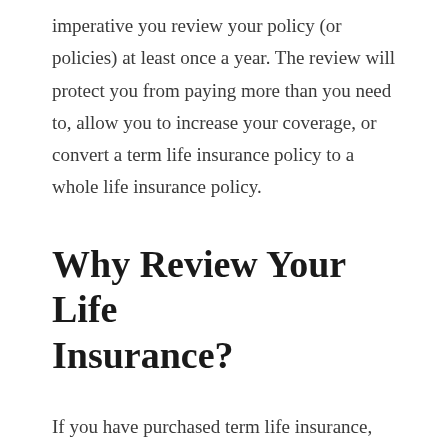imperative you review your policy (or policies) at least once a year. The review will protect you from paying more than you need to, allow you to increase your coverage, or convert a term life insurance policy to a whole life insurance policy.
Why Review Your Life Insurance?
If you have purchased term life insurance, the market changes over time. If you have not had a policy for many years, there may be a better option available to lower your premiums or increase the death benefit